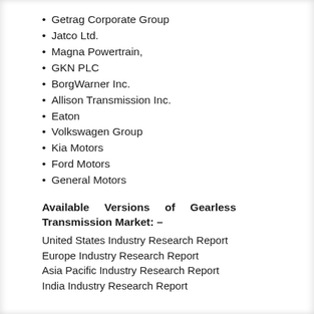Getrag Corporate Group
Jatco Ltd.
Magna Powertrain,
GKN PLC
BorgWarner Inc.
Allison Transmission Inc.
Eaton
Volkswagen Group
Kia Motors
Ford Motors
General Motors
Available Versions of Gearless Transmission Market: –
United States Industry Research Report
Europe Industry Research Report
Asia Pacific Industry Research Report
India Industry Research Report